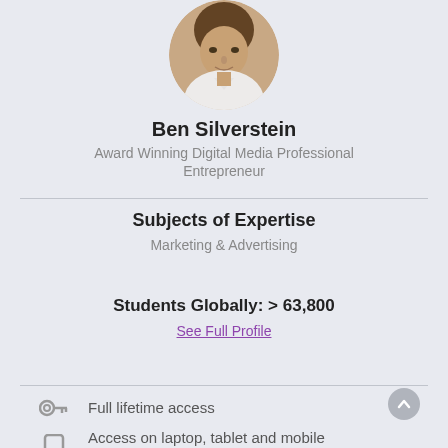[Figure (photo): Circular profile photo of Ben Silverstein, a man in a white shirt]
Ben Silverstein
Award Winning Digital Media Professional
Entrepreneur
Subjects of Expertise
Marketing & Advertising
Students Globally: > 63,800
See Full Profile
Full lifetime access
Access on laptop, tablet and mobile devices
Certificate of completion